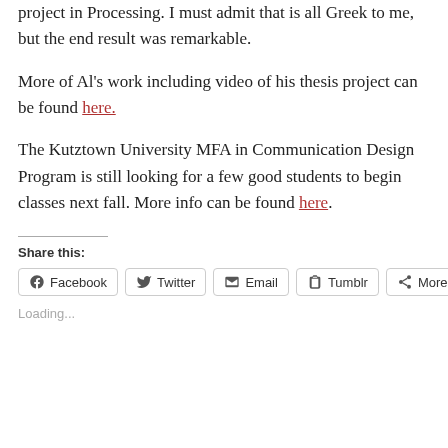project in Processing. I must admit that is all Greek to me, but the end result was remarkable.
More of Al's work including video of his thesis project can be found here.
The Kutztown University MFA in Communication Design Program is still looking for a few good students to begin classes next fall. More info can be found here.
Share this:
Facebook  Twitter  Email  Tumblr  More
Loading...